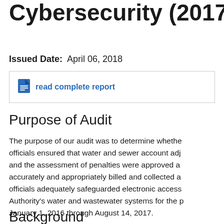Cybersecurity (2017M-2...
Issued Date:  April 06, 2018
read complete report
Purpose of Audit
The purpose of our audit was to determine whether officials ensured that water and sewer account adjustments and the assessment of penalties were approved and accurately and appropriately billed and collected and officials adequately safeguarded electronic access to the Authority's water and wastewater systems for the period January 1, 2016 through August 14, 2017.
Background